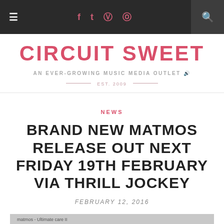≡  f  t  ⊙  ℗  🔍
CIRCUIT SWEET
AN EVER-GROWING MUSIC MEDIA OUTLET 🔊
EST. 2009
NEWS
BRAND NEW MATMOS RELEASE OUT NEXT FRIDAY 19TH FEBRUARY VIA THRILL JOCKEY
FEBRUARY 12, 2016
[Figure (photo): Matmos - Ultimate care II album artwork stub]